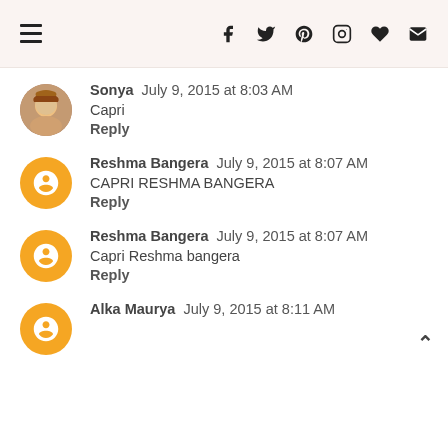Navigation and social icons header bar
Sonya July 9, 2015 at 8:03 AM
Capri
Reply
Reshma Bangera July 9, 2015 at 8:07 AM
CAPRI RESHMA BANGERA
Reply
Reshma Bangera July 9, 2015 at 8:07 AM
Capri Reshma bangera
Reply
Alka Maurya July 9, 2015 at 8:11 AM